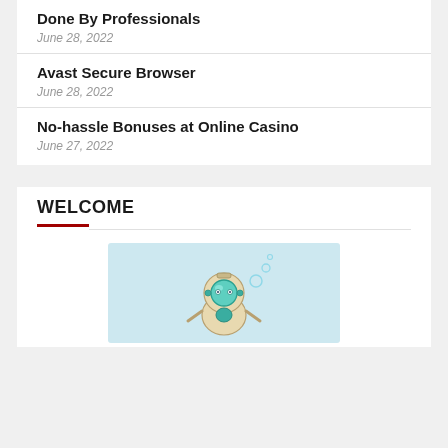Done By Professionals
June 28, 2022
Avast Secure Browser
June 28, 2022
No-hassle Bonuses at Online Casino
June 27, 2022
WELCOME
[Figure (illustration): Cartoon illustration of a small robot or diver character with a round helmet/visor with teal accents and bubbles, on a light blue background]